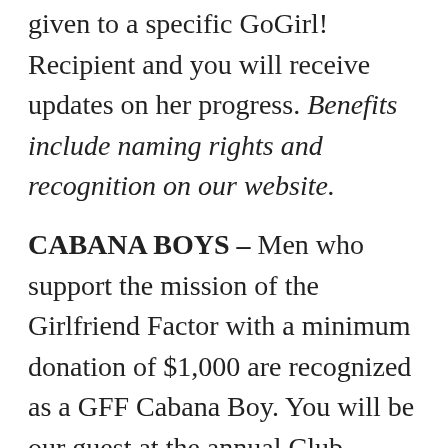given to a specific GoGirl! Recipient and you will receive updates on her progress. Benefits include naming rights and recognition on our website.
CABANA BOYS – Men who support the mission of the Girlfriend Factor with a minimum donation of $1,000 are recognized as a GFF Cabana Boy. You will be our guest at the annual Club Cabana Celebration; and receive adulation and appreciation from lots